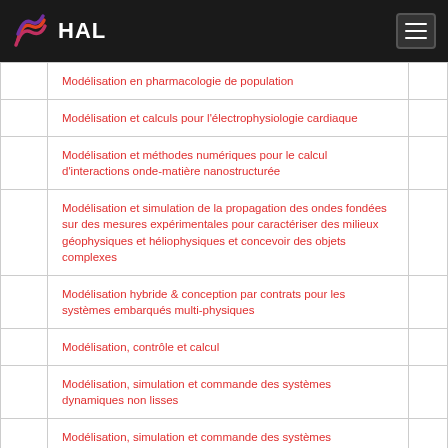HAL
Modélisation en pharmacologie de population
Modélisation et calculs pour l'électrophysiologie cardiaque
Modélisation et méthodes numériques pour le calcul d'interactions onde-matière nanostructurée
Modélisation et simulation de la propagation des ondes fondées sur des mesures expérimentales pour caractériser des milieux géophysiques et héliophysiques et concevoir des objets complexes
Modélisation hybride & conception par contrats pour les systèmes embarqués multi-physiques
Modélisation, contrôle et calcul
Modélisation, simulation et commande des systèmes dynamiques non lisses
Modélisation, simulation et commande des systèmes